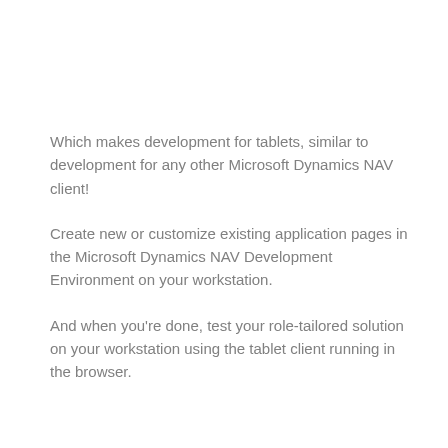Which makes development for tablets, similar to development for any other Microsoft Dynamics NAV client!
Create new or customize existing application pages in the Microsoft Dynamics NAV Development Environment on your workstation.
And when you're done, test your role-tailored solution on your workstation using the tablet client running in the browser.